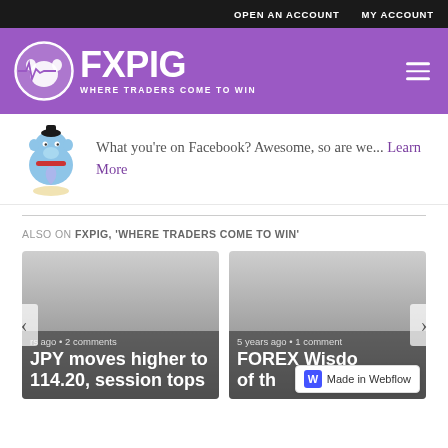OPEN AN ACCOUNT   MY ACCOUNT
[Figure (logo): FXPIG logo — circular pig with heartbeat line and text 'FXPIG WHERE TRADERS COME TO WIN' on purple background]
What you're on Facebook? Awesome, so are we... Learn More
ALSO ON FXPIG, 'WHERE TRADERS COME TO WIN'
[Figure (screenshot): Card: years ago • 2 comments — JPY moves higher to 114.20, session tops]
[Figure (screenshot): Card: 5 years ago • 1 comment — FOREX Wisdom of th...]